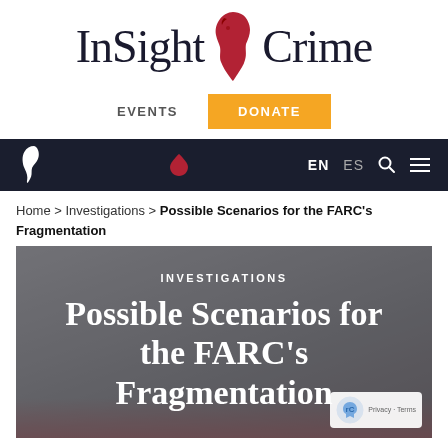[Figure (logo): InSight Crime logo with red Latin America map silhouette between the words]
EVENTS   DONATE
EN ES (search and menu icons)
Home > Investigations > Possible Scenarios for the FARC's Fragmentation
[Figure (photo): Hero image with gray overlay showing text: INVESTIGATIONS / Possible Scenarios for the FARC's Fragmentation]
Possible Scenarios for the FARC's Fragmentation
INVESTIGATIONS